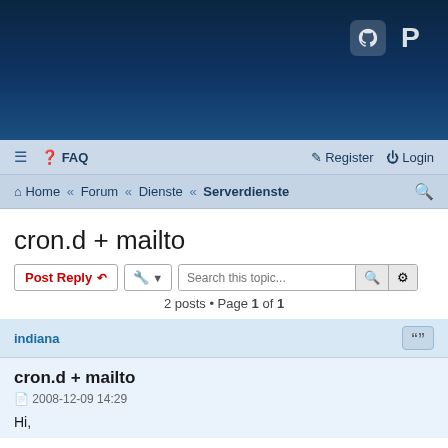[Figure (screenshot): Forum website dark blue header banner with GitHub and PayPal icons in top right corner]
☰  ❓ FAQ    ✏ Register  ⏻ Login
🏠 Home « Forum « Dienste « Serverdienste  🔍
cron.d + mailto
Post Reply  🔧 ▾  Search this topic...  🔍  ⚙
2 posts • Page 1 of 1
indiana
cron.d + mailto
2008-12-09 14:29
Hi,